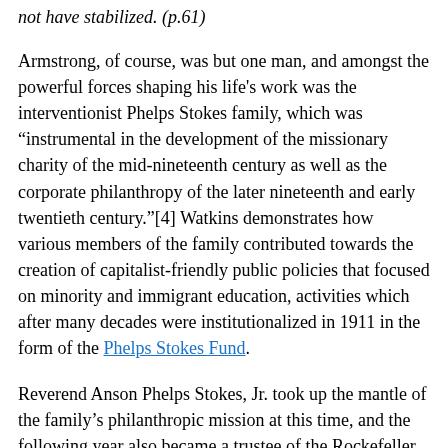not have stabilized. (p.61)
Armstrong, of course, was but one man, and amongst the powerful forces shaping his life's work was the interventionist Phelps Stokes family, which was "instrumental in the development of the missionary charity of the mid-nineteenth century as well as the corporate philanthropy of the later nineteenth and early twentieth century."[4] Watkins demonstrates how various members of the family contributed towards the creation of capitalist-friendly public policies that focused on minority and immigrant education, activities which after many decades were institutionalized in 1911 in the form of the Phelps Stokes Fund.
Reverend Anson Phelps Stokes, Jr. took up the mantle of the family's philanthropic mission at this time, and the following year also became a trustee of the Rockefeller family's powerful General Education Board, eventually resigning as the secretary of Yale University in 1924 so he could become the president of the Phelps Stokes Fund. In this way, Anson Jr. "supported an ideology that was to help shape a half-